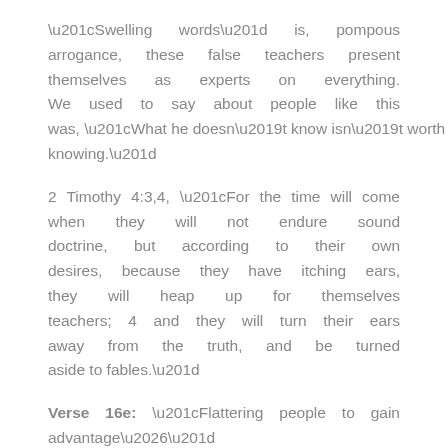“Swelling words” is, pompous arrogance, these false teachers present themselves as experts on everything. We used to say about people like this was, “What he doesn’t know isn’t worth knowing.”
2 Timothy 4:3,4, “For the time will come when they will not endure sound doctrine, but according to their own desires, because they have itching ears, they will heap up for themselves teachers; 4 and they will turn their ears away from the truth, and be turned aside to fables.”
Verse 16e: “Flattering people to gain advantage…” “Flattering” in Greek is thaumazo,